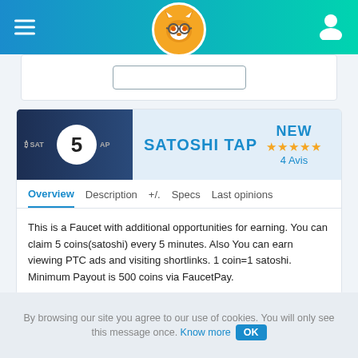Navigation bar with hamburger menu, logo, and user icon
SATOSHI TAP
NEW
★★★★★
4 Avis
Overview  Description  +/.  Specs  Last opinions
This is a Faucet with additional opportunities for earning. You can claim 5 coins(satoshi) every 5 minutes. Also You can earn viewing PTC ads and visiting shortlinks. 1 coin=1 satoshi. Minimum Payout is 500 coins via FaucetPay.
By browsing our site you agree to our use of cookies. You will only see this message once. Know more  OK